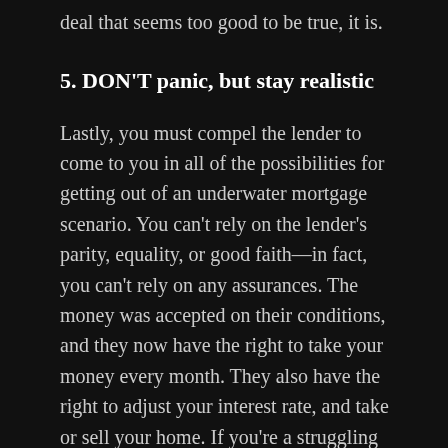deal that seems too good to be true, it is.
5. DON'T panic, but stay realistic
Lastly, you must compel the lender to come to you in all of the possibilities for getting out of an underwater mortgage scenario. You can't rely on the lender's parity, equality, or good faith—in fact, you can't rely on any assurances. The money was accepted on their conditions, and they now have the right to take your money every month. They also have the right to adjust your interest rate, and take or sell your home. If you're a struggling homeowner, you need to think carefully about your options; it's the only way to keep your chance of